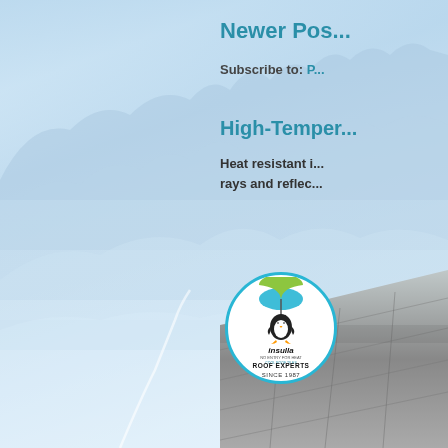Newer Pos...
Subscribe to: P...
High-Temper...
Heat resistant i... rays and reflec...
[Figure (photo): Insulla logo (circle with penguin and umbrella, 'ROOF EXPERTS SINCE 1987') overlapping a photo of a flat/metal roof surface in grayscale, set against misty mountain background]